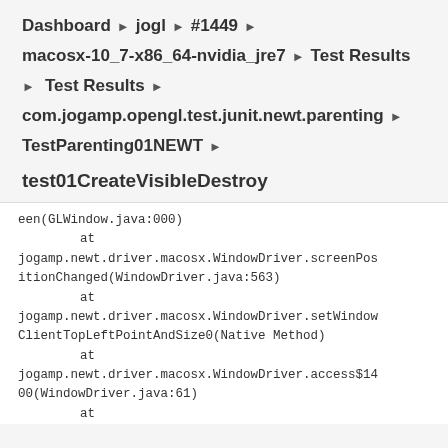Dashboard ▶ jogl ▶ #1449 ▶
macosx-10_7-x86_64-nvidia_jre7 ▶ Test Results
▶ Test Results ▶
com.jogamp.opengl.test.junit.newt.parenting ▶
TestParenting01NEWT ▶
test01CreateVisibleDestroy
een(GLWindow.java:000)
        at
jogamp.newt.driver.macosx.WindowDriver.screenPositionChanged(WindowDriver.java:563)
        at
jogamp.newt.driver.macosx.WindowDriver.setWindowClientTopLeftPointAndSize0(Native Method)
        at
jogamp.newt.driver.macosx.WindowDriver.access$1400(WindowDriver.java:61)
        at